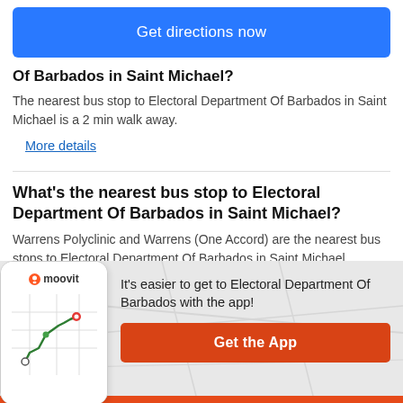[Figure (other): Blue 'Get directions now' button]
Of Barbados in Saint Michael?
The nearest bus stop to Electoral Department Of Barbados in Saint Michael is a 2 min walk away.
More details
What's the nearest bus stop to Electoral Department Of Barbados in Saint Michael?
Warrens Polyclinic and Warrens (One Accord) are the nearest bus stops to Electoral Department Of Barbados in Saint Michael.
[Figure (screenshot): Moovit app promotional banner with phone mockup showing map route, text 'It's easier to get to Electoral Department Of Barbados with the app!' and orange 'Get the App' button]